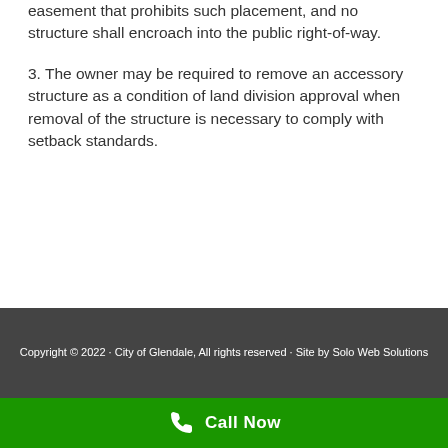easement that prohibits such placement, and no structure shall encroach into the public right-of-way.
3. The owner may be required to remove an accessory structure as a condition of land division approval when removal of the structure is necessary to comply with setback standards.
Copyright © 2022 · City of Glendale, All rights reserved · Site by Solo Web Solutions
Call Now